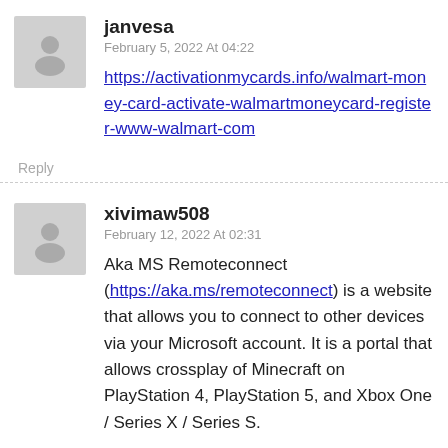[Figure (other): User avatar placeholder - grey silhouette of a person]
janvesa
February 5, 2022 At 04:22
https://activationmycards.info/walmart-money-card-activate-walmartmoneycard-register-www-walmart-com
Reply
[Figure (other): User avatar placeholder - grey silhouette of a person]
xivimaw508
February 12, 2022 At 02:31
Aka MS Remoteconnect (https://aka.ms/remoteconnect) is a website that allows you to connect to other devices via your Microsoft account. It is a portal that allows crossplay of Minecraft on PlayStation 4, PlayStation 5, and Xbox One / Series X / Series S.
[Figure (other): Travel Guide advertisement banner for gun owners featuring LawShield with text Protect yourself wherever you go]